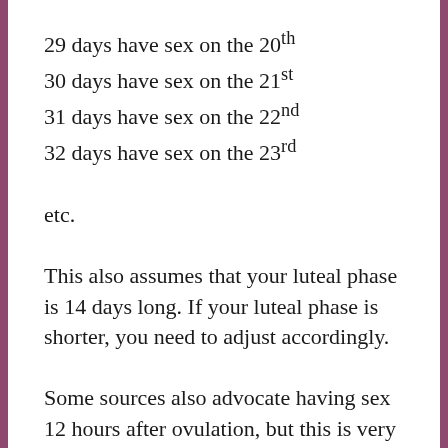29 days have sex on the 20th
30 days have sex on the 21st
31 days have sex on the 22nd
32 days have sex on the 23rd
etc.
This also assumes that your luteal phase is 14 days long. If your luteal phase is shorter, you need to adjust accordingly.
Some sources also advocate having sex 12 hours after ovulation, but this is very hard to do and also you can risk to fertilize and old